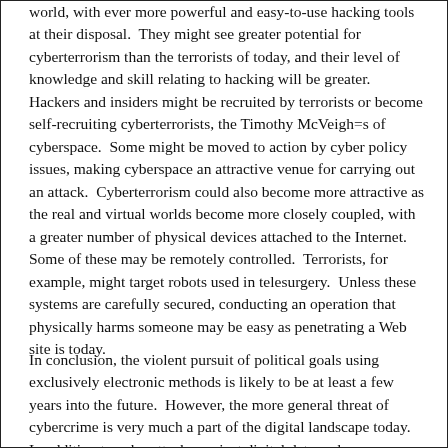world, with ever more powerful and easy-to-use hacking tools at their disposal.  They might see greater potential for cyberterrorism than the terrorists of today, and their level of knowledge and skill relating to hacking will be greater.  Hackers and insiders might be recruited by terrorists or become self-recruiting cyberterrorists, the Timothy McVeigh=s of cyberspace.  Some might be moved to action by cyber policy issues, making cyberspace an attractive venue for carrying out an attack.  Cyberterrorism could also become more attractive as the real and virtual worlds become more closely coupled, with a greater number of physical devices attached to the Internet.  Some of these may be remotely controlled.  Terrorists, for example, might target robots used in telesurgery.  Unless these systems are carefully secured, conducting an operation that physically harms someone may be easy as penetrating a Web site is today.
In conclusion, the violent pursuit of political goals using exclusively electronic methods is likely to be at least a few years into the future.  However, the more general threat of cybercrime is very much a part of the digital landscape today.  In addition to cyberattacks against digital data and